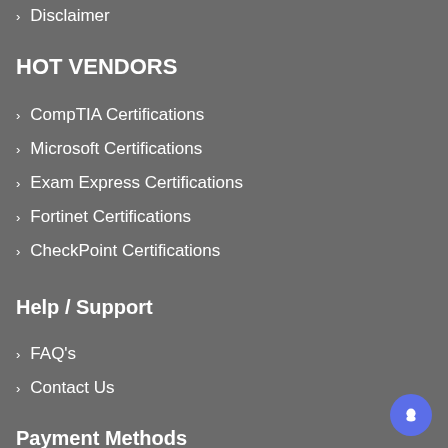Disclaimer
HOT VENDORS
CompTIA Certifications
Microsoft Certifications
Exam Express Certifications
Fortinet Certifications
CheckPoint Certifications
Help / Support
FAQ's
Contact Us
Payment Methods